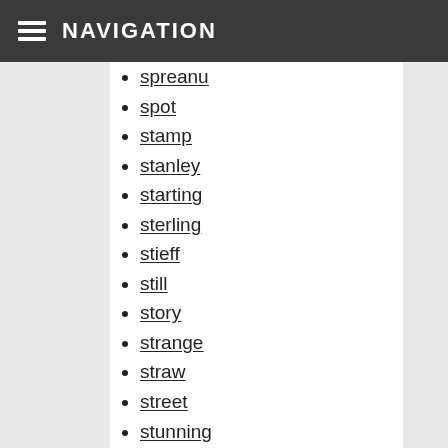NAVIGATION
spreanu
spot
stamp
stanley
starting
sterling
stieff
still
story
strange
straw
street
stunning
sunderland
super
superb
svensson